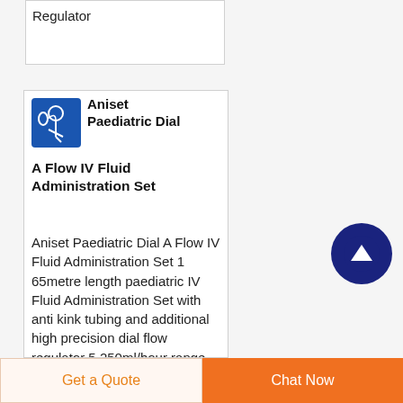Regulator
Aniset Paediatric Dial A Flow IV Fluid Administration Set
Aniset Paediatric Dial A Flow IV Fluid Administration Set 1 65metre length paediatric IV Fluid Administration Set with anti kink tubing and additional high precision dial flow regulator 5 250ml/hour range providing greater accuracy at lower flow rates improving
Get a Quote
Chat Now